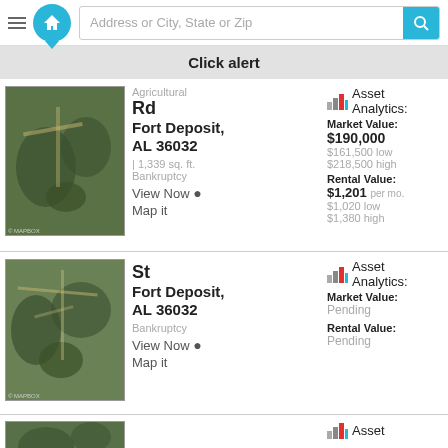Address or City, State or Zip
Click alert
Agricultural Rd Fort Deposit, AL 36032 | 1,339 sq. ft. Bankruptcy View Now Map it
Asset Analytics: Market Value: $190,000 $161,500 low $218,500 high Rental Value: $1,201 per mo. $1,020 low $1,380 high
St Fort Deposit, AL 36032 Bankruptcy View Now Map it
Asset Analytics: Market Value: Pending Rental Value: Pending
Asset